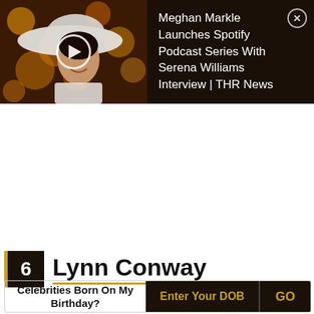[Figure (screenshot): Video thumbnail of a woman wearing a white wide-brim hat, smiling, with bokeh golden/orange background. Play button overlaid in center. Dark background banner.]
Meghan Markle Launches Spotify Podcast Series With Serena Williams Interview | THR News
6 Lynn Conway
Celebrities Born On My Birthday?
Enter Your DOB
GO